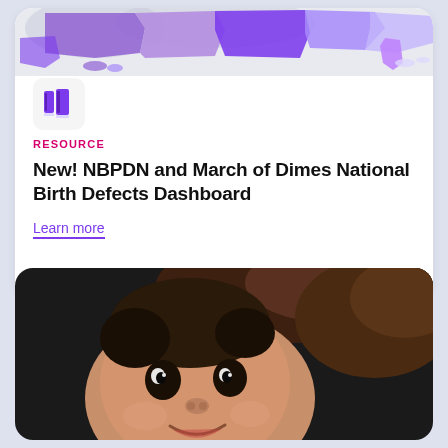[Figure (map): Partial US map with states colored in purple/violet hues, shown as top strip of a card]
[Figure (illustration): Book icon — two books side by side in purple color inside a light rounded square]
RESOURCE
New! NBPDN and March of Dimes National Birth Defects Dashboard
Learn more
[Figure (photo): Close-up photo of a smiling baby with wide eyes looking up, with an adult (mother) leaning over the baby, dark background]